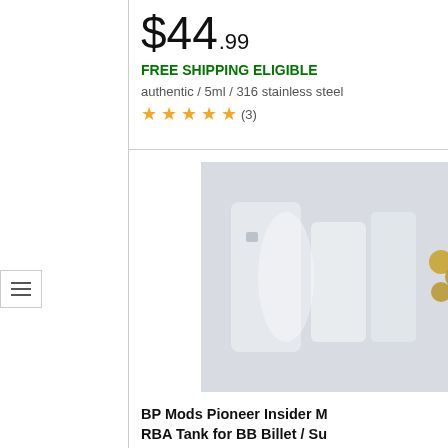$44.99
FREE SHIPPING ELIGIBLE
authentic / 5ml / 316 stainless steel
★★★★★ (3)
[Figure (photo): Product photo of BP Mods Pioneer Insider M RBA Tank components on grey background]
BP Mods Pioneer Insider M RBA Tank for BB Billet / Su Zero Naga / SXK Supbox B
$59.99
FREE SHIPPING ELIGIBLE
authentic / 4ml